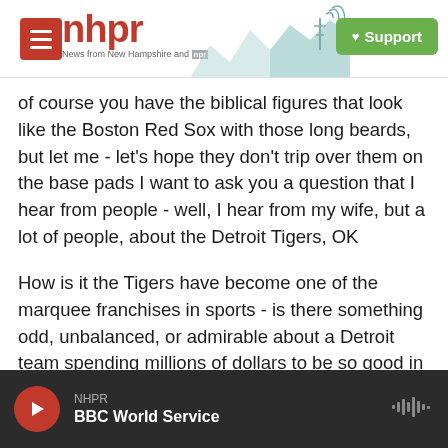NHPR – News from New Hampshire and NPR | Support
of course you have the biblical figures that look like the Boston Red Sox with those long beards, but let me - let's hope they don't trip over them on the base pads I want to ask you a question that I hear from people - well, I hear from my wife, but a lot of people, about the Detroit Tigers, OK
How is it the Tigers have become one of the marquee franchises in sports - is there something odd, unbalanced, or admirable about a Detroit team spending millions of dollars to be so good in a city so bankrupt it can't afford streetlights?
NHPR | BBC World Service